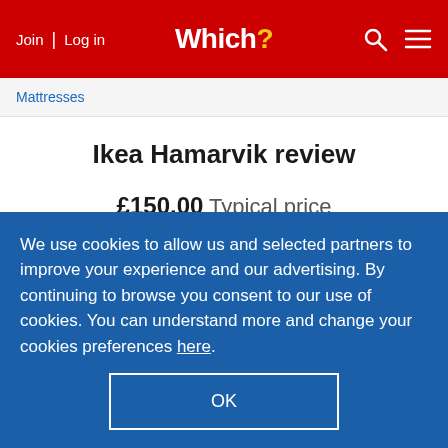Join | Log in  Which?
Mattresses
Ikea Hamarvik review
£150.00 Typical price
We use cookies to allow us and selected partners to improve your experience and our advertising. By continuing to browse you consent to our use of cookies. You can understand more and change your cookies preferences here.
OK